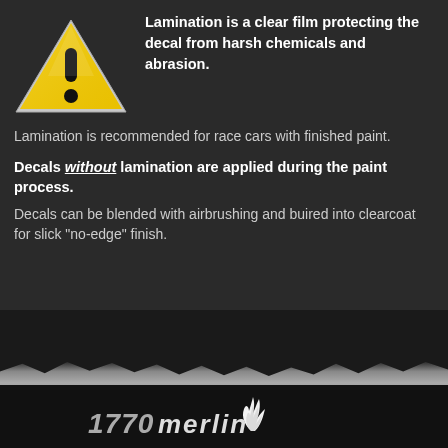[Figure (illustration): Yellow warning triangle icon with black exclamation mark]
Lamination is a clear film protecting the decal from harsh chemicals and abrasion. Lamination is recommended for race cars with finished paint. Decals without lamination are applied during the paint process. Decals can be blended with airbrushing and buired into clearcoat for slick "no-edge" finish.
[Figure (logo): 1770 Merlin logo with flame icon, white text on black background]